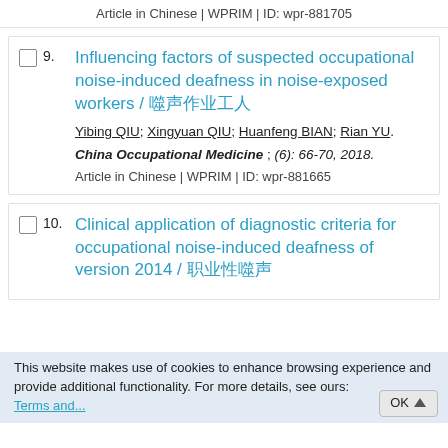Article in Chinese | WPRIM | ID: wpr-881705
9. Influencing factors of suspected occupational noise-induced deafness in noise-exposed workers / 噪声作业工人
Yibing QIU; Xingyuan QIU; Huanfeng BIAN; Rian YU.
China Occupational Medicine ; (6): 66-70, 2018.
Article in Chinese | WPRIM | ID: wpr-881665
10. Clinical application of diagnostic criteria for occupational noise-induced deafness of version 2014 / 职业性噪声
This website makes use of cookies to enhance browsing experience and provide additional functionality. For more details, see ours: Terms and ... OK